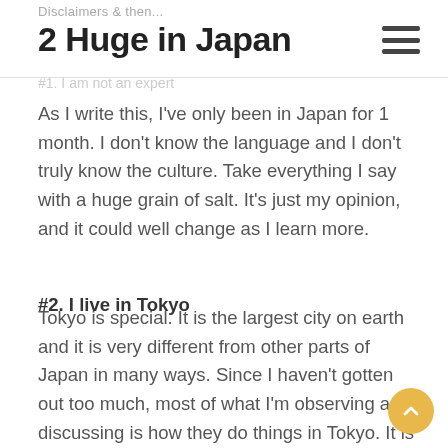2 Huge in Japan
#1. I am not an expert
As I write this, I've only been in Japan for 1 month. I don't know the language and I don't truly know the culture. Take everything I say with a huge grain of salt. It's just my opinion, and it could well change as I learn more.
#2. I live in Tokyo
Tokyo is special. It is the largest city on earth and it is very different from other parts of Japan in many ways. Since I haven't gotten out too much, most of what I'm observing and discussing is how they do things in Tokyo. It is also one of the cities in Japan most used to